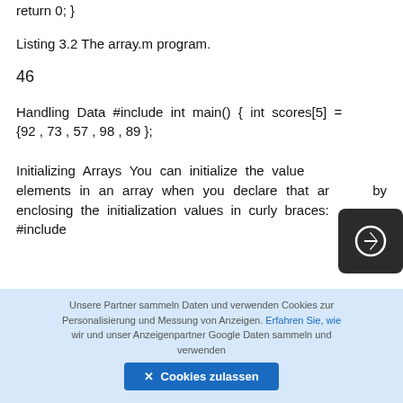return 0; }
Listing 3.2 The array.m program.
46
Handling Data #include int main() { int scores[5] = {92,73,57,98,89};
Initializing Arrays You can initialize the value of elements in an array when you declare that array by enclosing the initialization values in curly braces: #include
Unsere Partner sammeln Daten und verwenden Cookies zur Personalisierung und Messung von Anzeigen. Erfahren Sie, wie wir und unser Anzeigenpartner Google Daten sammeln und verwenden
✕ Cookies zulassen